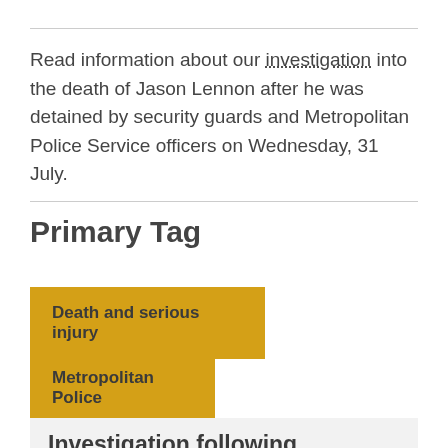Read information about our investigation into the death of Jason Lennon after he was detained by security guards and Metropolitan Police Service officers on Wednesday, 31 July.
Primary Tag
Death and serious injury
Metropolitan Police
Investigation following death of man in Newham